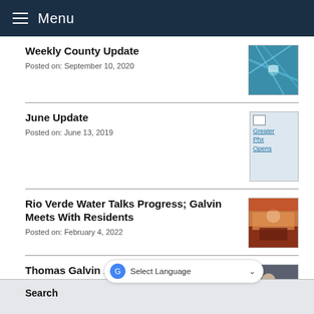Menu
Weekly County Update
Posted on: September 10, 2020
[Figure (photo): Blue-toned close-up photo, possibly technology or science related]
June Update
Posted on: June 13, 2019
[Figure (screenshot): Greater Phx Opens thumbnail with blue text link]
Rio Verde Water Talks Progress; Galvin Meets With Residents
Posted on: February 4, 2022
[Figure (photo): Event photo with people at a meeting]
Thomas Galvin Appointed As New District 2 Supervisor
Posted on: December 8, 2021
[Figure (photo): Photo of Thomas Galvin with others]
Search